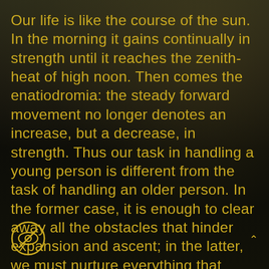Our life is like the course of the sun. In the morning it gains continually in strength until it reaches the zenith-heat of high noon. Then comes the enatiodromia: the steady forward movement no longer denotes an increase, but a decrease, in strength. Thus our task in handling a young person is different from the task of handling an older person. In the former case, it is enough to clear away all the obstacles that hinder expansion and ascent; in the latter, we must nurture everything that assists the descent.
If there is anything that we wish to change in our children, we should first examine it and see whether it is not